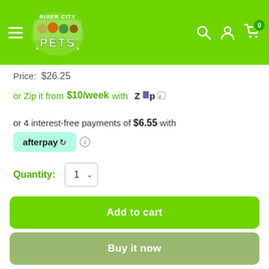River City Pets — navigation header with logo, search, account, cart (0)
Price: $26.25
or Zip it from $10/week with Zip [i]
or 4 interest-free payments of $6.55 with afterpay [i]
Quantity: 1
Add to cart
Buy it now